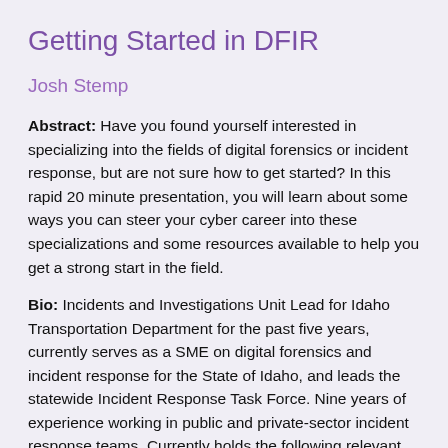Getting Started in DFIR
Josh Stemp
Abstract: Have you found yourself interested in specializing into the fields of digital forensics or incident response, but are not sure how to get started? In this rapid 20 minute presentation, you will learn about some ways you can steer your cyber career into these specializations and some resources available to help you get a strong start in the field.
Bio: Incidents and Investigations Unit Lead for Idaho Transportation Department for the past five years, currently serves as a SME on digital forensics and incident response for the State of Idaho, and leads the statewide Incident Response Task Force. Nine years of experience working in public and private-sector incident response teams. Currently holds the following relevant industry certifications: GCIH, GCFA, GCFE, GARE and